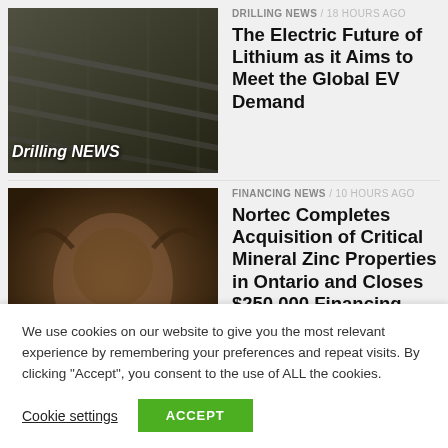[Figure (photo): Drilling NEWS thumbnail image with dark industrial/railway background]
DRILLING NEWS / 18 hours ago
The Electric Future of Lithium as it Aims to Meet the Global EV Demand
[Figure (photo): Financing NEWS thumbnail image with a Highland cow in a field]
FINANCING NEWS / 10 hours ago
Nortec Completes Acquisition of Critical Mineral Zinc Properties in Ontario and Closes $250,000 Financing
[Figure (photo): Financing NEWS thumbnail image with dark animal background]
FINANCING NEWS / 11 hours ago
Pacific Ridge to Increase Size of Drill Program at the Kliyul Copper-Gold Project
We use cookies on our website to give you the most relevant experience by remembering your preferences and repeat visits. By clicking “Accept”, you consent to the use of ALL the cookies.
Cookie settings
ACCEPT